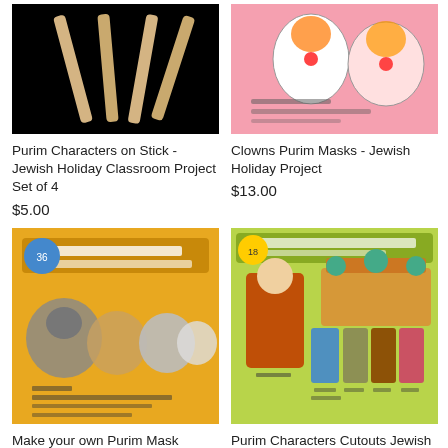[Figure (photo): Product image showing Purim Characters on Stick on black background]
[Figure (photo): Product image showing Clowns Purim Masks on pink background with Hebrew text]
Purim Characters on Stick - Jewish Holiday Classroom Project Set of 4
$5.00
Clowns Purim Masks - Jewish Holiday Project
$13.00
[Figure (photo): Product image showing Make your own Purim Mask Project on orange/yellow background with Hebrew text and animal mask images]
[Figure (photo): Product image showing Purim Characters Cutouts on green background with Hebrew text and character figures]
Make your own Purim Mask Project - 36 sets / 4
Purim Characters Cutouts Jewish Project Set of 6 (18